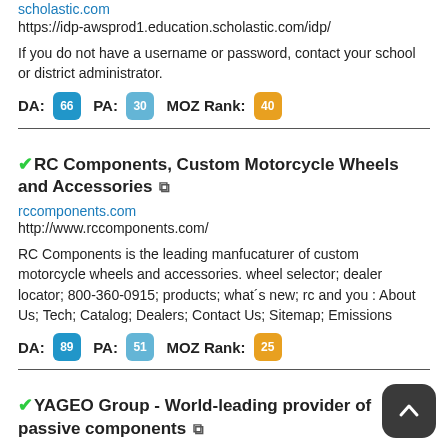scholastic.com
https://idp-awsprod1.education.scholastic.com/idp/
If you do not have a username or password, contact your school or district administrator.
DA: 66  PA: 30  MOZ Rank: 40
✓RC Components, Custom Motorcycle Wheels and Accessories ↗
rccomponents.com
http://www.rccomponents.com/
RC Components is the leading manfucaturer of custom motorcycle wheels and accessories. wheel selector; dealer locator; 800-360-0915; products; what´s new; rc and you : About Us; Tech; Catalog; Dealers; Contact Us; Sitemap; Emissions
DA: 89  PA: 51  MOZ Rank: 25
✓YAGEO Group - World-leading provider of passive components ↗
yageo.com